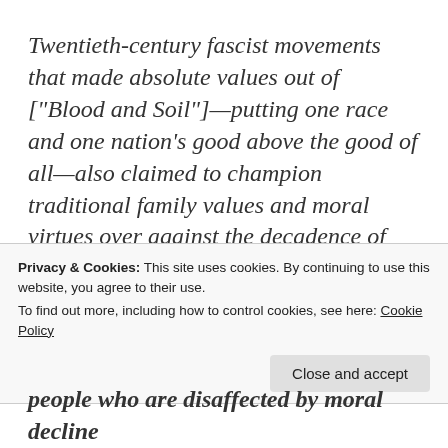Twentieth-century fascist movements that made absolute values out of ["Blood and Soil"]—putting one race and one nation's good above the good of all—also claimed to champion traditional family values and moral virtues over against the decadence of relativistic modern culture. Even though [fascists] were no friends of orthodox Christianity (see Adolf Hitler's heretical
Privacy & Cookies: This site uses cookies. By continuing to use this website, you agree to their use.
To find out more, including how to control cookies, see here: Cookie Policy
Close and accept
people who are disaffected by moral decline